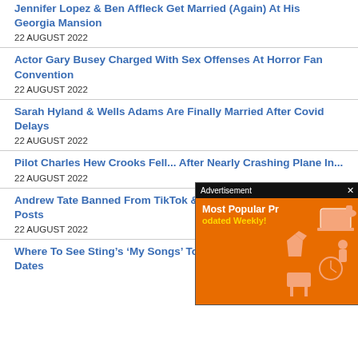Jennifer Lopez & Ben Affleck Get Married (Again) At His Georgia Mansion
22 AUGUST 2022
Actor Gary Busey Charged With Sex Offenses At Horror Fan Convention
22 AUGUST 2022
Sarah Hyland & Wells Adams Are Finally Married After Covid Delays
22 AUGUST 2022
Pilot Charles Hew Crooks Fell ... After Nearly Crashing Plane In...
22 AUGUST 2022
Andrew Tate Banned From TikTok & Instagram For Misogynistic Posts
22 AUGUST 2022
Where To See Sting’s ‘My Songs’ Tour Live – Tickets & Show Dates
[Figure (screenshot): Advertisement overlay with orange background showing 'Most Popular Products' text and 'Updated Weekly!' in yellow, with shopping/product icons on the right side.]